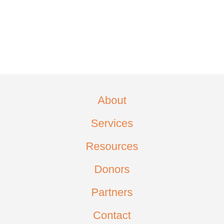About
Services
Resources
Donors
Partners
Contact